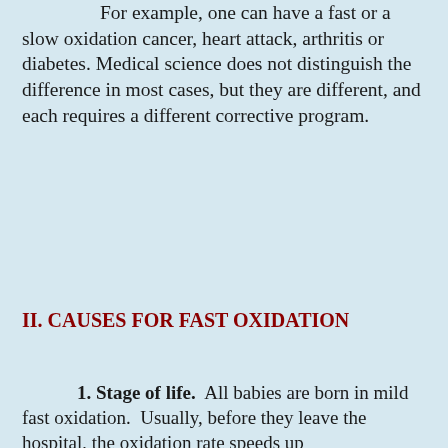For example, one can have a fast or a slow oxidation cancer, heart attack, arthritis or diabetes. Medical science does not distinguish the difference in most cases, but they are different, and each requires a different corrective program.
II. CAUSES FOR FAST OXIDATION
1. Stage of life. All babies are born in mild fast oxidation. Usually, before they leave the hospital, the oxidation rate speeds up